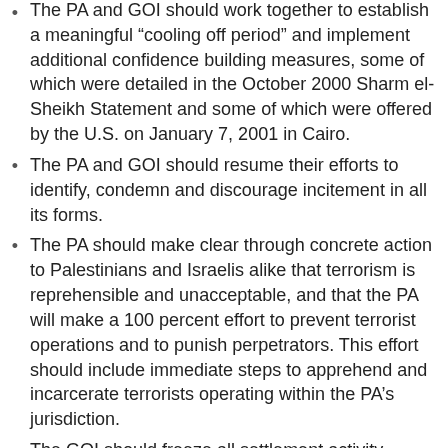The PA and GOI should work together to establish a meaningful “cooling off period” and implement additional confidence building measures, some of which were detailed in the October 2000 Sharm el-Sheikh Statement and some of which were offered by the U.S. on January 7, 2001 in Cairo.
The PA and GOI should resume their efforts to identify, condemn and discourage incitement in all its forms.
The PA should make clear through concrete action to Palestinians and Israelis alike that terrorism is reprehensible and unacceptable, and that the PA will make a 100 percent effort to prevent terrorist operations and to punish perpetrators. This effort should include immediate steps to apprehend and incarcerate terrorists operating within the PA’s jurisdiction.
The GOI should freeze all settlement activity, including the “natural growth” of existing settlements.
The GOI should ensure that the IDF adopt and enforce policies and procedures encouraging non-lethal responses to unarmed demonstrators, with a view to minimizing casualties and friction between the two communities.
The PA should prevent gunmen from using Palestinian populated areas to fire upon Israeli populated areas and